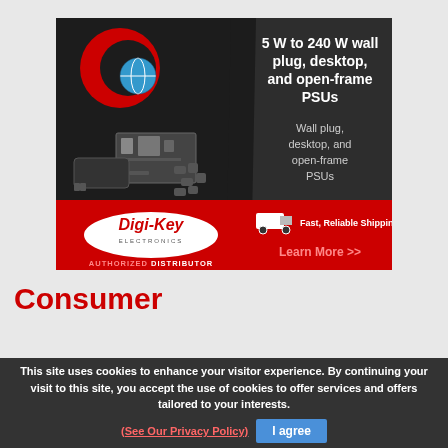[Figure (infographic): Cui Inc / Digi-Key Electronics advertisement banner. Dark background with red C-globe logo top left, power supplies (wall plug, desktop, open-frame PSUs) in center-left. Right panel in dark gray with white bold text: '5 W to 240 W wall plug, desktop, and open-frame PSUs' and subtitle 'Wall plug, desktop, and open-frame PSUs'. Bottom red bar with Digi-Key Electronics oval logo on left, truck icon with 'Fast, Reliable Shipping' text, and 'Learn More >>' link on right. Below logo: 'AUTHORIZED DISTRIBUTOR'.]
Consumer
This site uses cookies to enhance your visitor experience. By continuing your visit to this site, you accept the use of cookies to offer services and offers tailored to your interests. (See Our Privacy Policy)   I agree